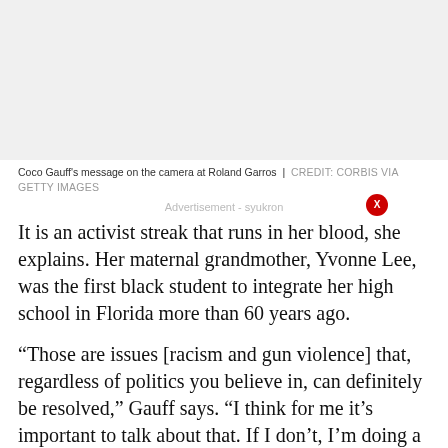[Figure (photo): Photo placeholder showing Coco Gauff's message on the camera at Roland Garros]
Coco Gauff's message on the camera at Roland Garros | CREDIT: CORBIS VIA GETTY IMAGES
Advertisement - syukron
It is an activist streak that runs in her blood, she explains. Her maternal grandmother, Yvonne Lee, was the first black student to integrate her high school in Florida more than 60 years ago.
“Those are issues [racism and gun violence] that, regardless of politics you believe in, can definitely be resolved,” Gauff says. “I think for me it’s important to talk about that. If I don’t, I’m doing a disservice to my family, because my family – and my grandmother especially – have pretty much been activists, so